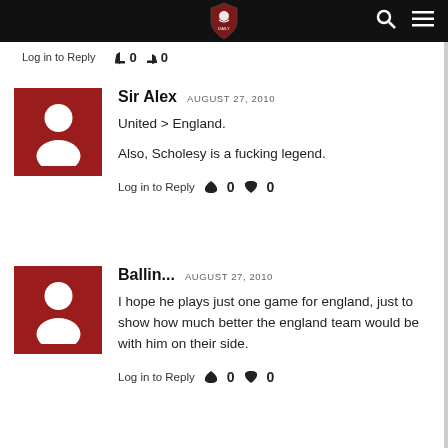Site header with logo and navigation icons
Log in to Reply   0   0
Sir Alex   AUGUST 27, 2010

United > England.

Also, Scholesy is a fucking legend.

Log in to Reply   0   0
Ballin...   AUGUST 27, 2010

I hope he plays just one game for england, just to show how much better the england team would be with him on their side.

Log in to Reply   0   0